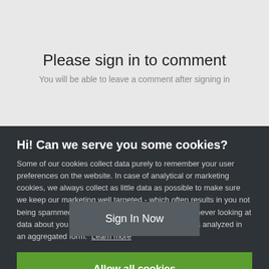Please sign in to comment
You will be able to leave a comment after signing in
Sign In Now
Hi! Can we serve you some cookies?
Some of our cookies collect data purely to remember your user preferences on the website. In case of analytical or marketing cookies, we always collect as little data as possible to make sure we keep our marketing well targeted - which often results in you not being spammed by any of our ads at all. We're also never looking at data about you in particular, everything at Bohemia is analyzed in an aggregated form. Learn more
Allow all cookies
I want more options